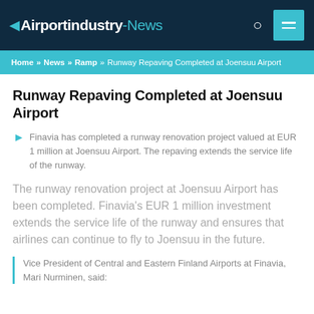Airportindustry-News
Home » News » Ramp » Runway Repaving Completed at Joensuu Airport
Runway Repaving Completed at Joensuu Airport
Finavia has completed a runway renovation project valued at EUR 1 million at Joensuu Airport. The repaving extends the service life of the runway.
The runway renovation project at Joensuu Airport has been completed. Finavia's EUR 1 million investment extends the service life of the runway and ensures that airlines can continue to fly to Joensuu in the future.
Vice President of Central and Eastern Finland Airports at Finavia, Mari Nurminen, said: